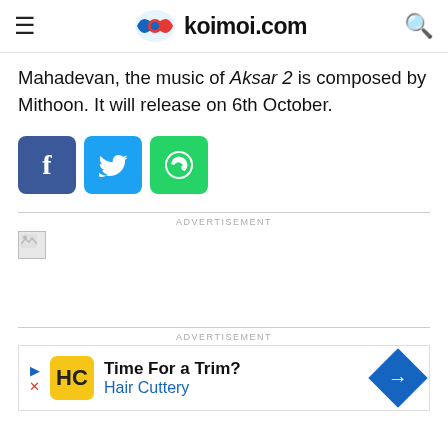koimoi.com
Mahadevan, the music of Aksar 2 is composed by Mithoon. It will release on 6th October.
[Figure (infographic): Social share buttons: Facebook (blue), Twitter (light blue), WhatsApp (green)]
ADVERTISEMENT
[Figure (photo): Broken image placeholder in advertisement area]
ADVERTISEMENT
[Figure (infographic): Hair Cuttery advertisement banner: Time For a Trim? Hair Cuttery]